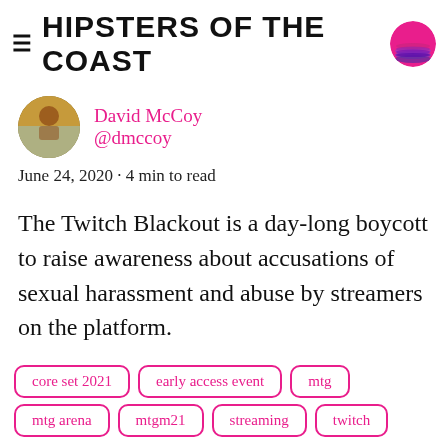HIPSTERS OF THE COAST
David McCoy
@dmccoy
June 24, 2020 · 4 min to read
The Twitch Blackout is a day-long boycott to raise awareness about accusations of sexual harassment and abuse by streamers on the platform.
core set 2021
early access event
mtg
mtg arena
mtgm21
streaming
twitch